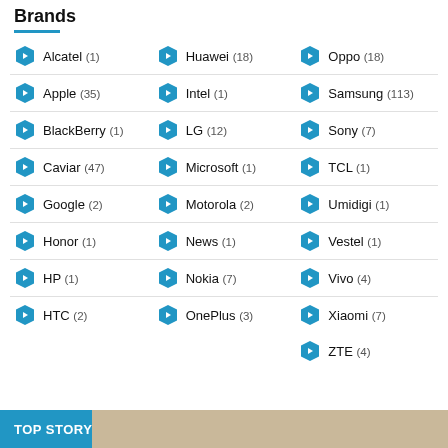Brands
Alcatel (1)
Huawei (18)
Oppo (18)
Apple (35)
Intel (1)
Samsung (113)
BlackBerry (1)
LG (12)
Sony (7)
Caviar (47)
Microsoft (1)
TCL (1)
Google (2)
Motorola (2)
Umidigi (1)
Honor (1)
News (1)
Vestel (1)
HP (1)
Nokia (7)
Vivo (4)
HTC (2)
OnePlus (3)
Xiaomi (7)
ZTE (4)
TOP STORY